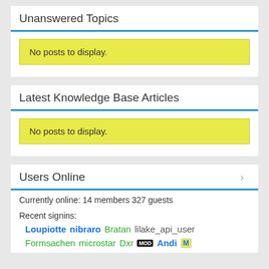Unanswered Topics
No posts to display.
Latest Knowledge Base Articles
No posts to display.
Users Online
Currently online: 14 members 327 guests
Recent signins:
Loupiotte nibraro Bratan lilake_api_user Formsachen microstar Dxr MOD Andi M